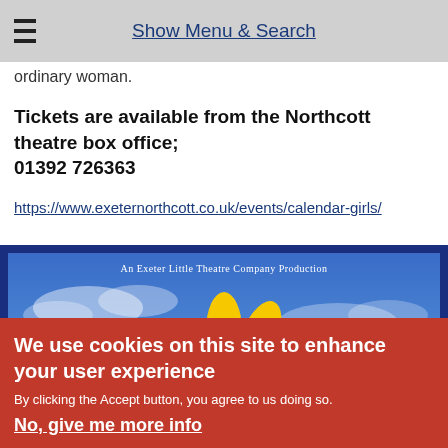Show Menu & Search
ordinary woman.
Tickets are available from the Northcott theatre box office; 01392 726363
https://www.exeternorthcott.co.uk/events/calendar-girls/
[Figure (illustration): Promotional poster for Calendar Girls by Exeter Little Theatre Company. Blue sky background with a large sunflower rising from the bottom center. Text reads 'An Exeter Little Theatre Company Production'.]
We use cookies on this site to enhance your user experience
By clicking the Accept button, you agree to us doing so.
No, give me more info